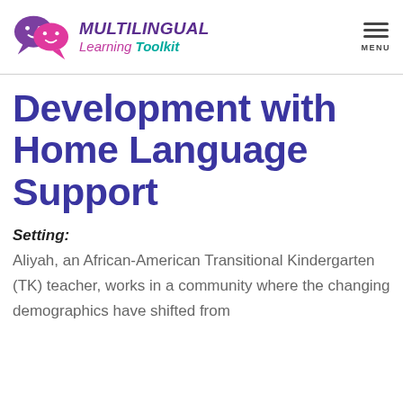MULTILINGUAL Learning Toolkit
Development with Home Language Support
Setting:
Aliyah, an African-American Transitional Kindergarten (TK) teacher, works in a community where the changing demographics have shifted from